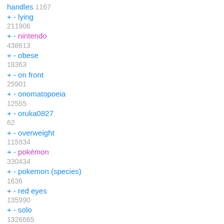handles 1167
+ - lying
211906
+ - nintendo
438613
+ - obese
18363
+ - on front
25901
+ - onomatopoeia
12555
+ - oruka0827
62
+ - overweight
115934
+ - pokémon
330434
+ - pokemon (species)
1636
+ - red eyes
135990
+ - solo
1326665
+ - sound effects 25600
+ - struggling
3060
+ - sweat